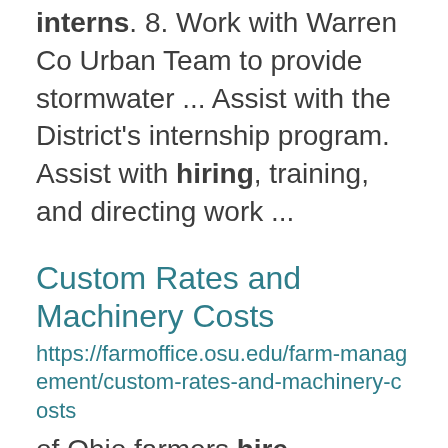interns. 8. Work with Warren Co Urban Team to provide stormwater ... Assist with the District's internship program. Assist with hiring, training, and directing work ...
Custom Rates and Machinery Costs
https://farmoffice.osu.edu/farm-management/custom-rates-and-machinery-costs
of Ohio farmers hire machinery operations and other farm related work to be completed by others. This ... guide are based on a statewide survey conducted by mail in the summer of 2012. Farmers, agribusiness ... and building rental rates and hired labor costs in Ohio. This